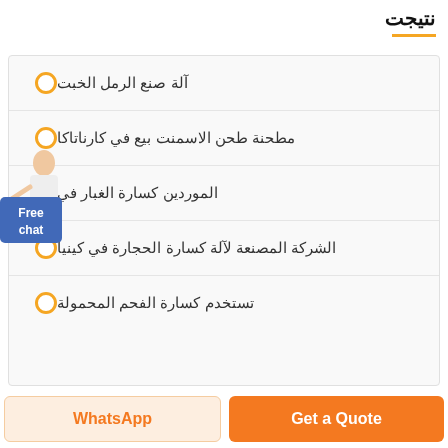نتيجت
آلة صنع الرمل الخبت
مطحنة طحن الاسمنت بيع في كارناتاكا
الموردين كسارة الغبار في
الشركة المصنعة لآلة كسارة الحجارة في كينيا
تستخدم كسارة الفحم المحمولة
Free chat
Get a Quote
WhatsApp